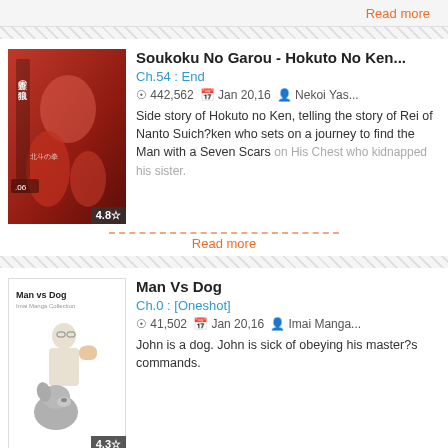Read more
Soukoku No Garou - Hokuto No Ken...
Ch.54 : End
442,562   Jan 20,16   Nekoi Yas...
Side story of Hokuto no Ken, telling the story of Rei of Nanto Suich?ken who sets on a journey to find the Man with a Seven Scars on His Chest who kidnapped his sister.
Read more
Man Vs Dog
Ch.0 : [Oneshot]
41,502   Jan 20,16   Imai Manga...
John is a dog. John is sick of obeying his master?s commands.
Read more